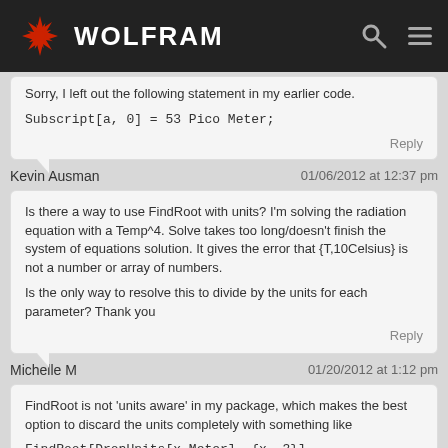WOLFRAM
Sorry, I left out the following statement in my earlier code.

Subscript[a, 0] = 53 Pico Meter;
Reply
Kevin Ausman   01/06/2012 at 12:37 pm
Is there a way to use FindRoot with units? I'm solving the radiation equation with a Temp^4. Solve takes too long/doesn't finish the system of equations solution. It gives the error that {T,10Celsius} is not a number or array of numbers.

Is the only way to resolve this to divide by the units for each parameter? Thank you
Reply
Michelle M   01/20/2012 at 1:12 pm
FindRoot is not 'units aware' in my package, which makes the best option to discard the units completely with something like
FindRoot[DropUnits[x Meter], {x, 3}]
If I do another update to the package, I will try and add support for this